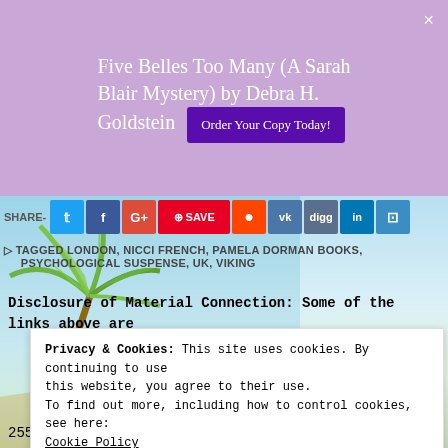Five Belles Too Many (A Sarah Blair Mystery) by Debra H. Goldstein
Order Your Copy Today!
[Figure (infographic): Social share buttons row: Twitter, Facebook, Google+, Pinterest SAVE, Reddit, VK, Digg, LinkedIn, Share icon]
TAGGED LONDON, NICCI FRENCH, PAMELA DORMAN BOOKS, PSYCHOLOGICAL SUSPENSE, UK, VIKING
[Figure (photo): Beach scene background with palm leaves, blue sky and sandy shore]
Disclosure of Material Connection: Some of the links above are
Privacy & Cookies: This site uses cookies. By continuing to use this website, you agree to their use.
To find out more, including how to control cookies, see here:
Cookie Policy
Close and accept
255: "Guides Concerning the Use of Endorsements and